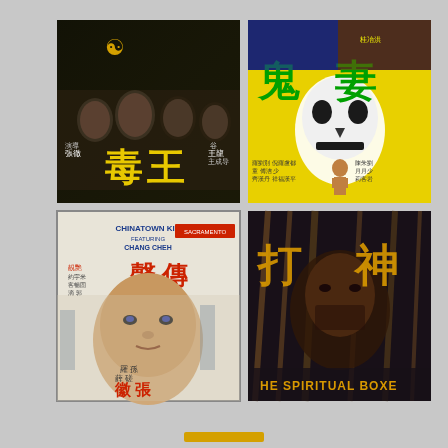[Figure (photo): Grid of four Hong Kong movie posters. Top-left: dark poster with Chinese characters and young men's faces. Top-right: yellow poster with skull/demon mask and Chinese characters reading ghost wife. Bottom-left: Chinatown Kid movie poster with a man's face and Chinese/English text. Bottom-right: The Spiritual Boxer dark poster with Chinese characters and a man holding sticks.]